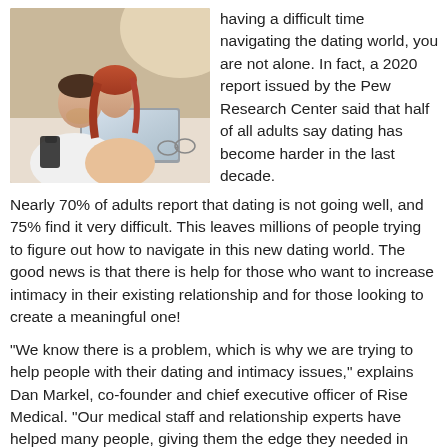[Figure (photo): A couple, a young man and a red-haired woman, looking at a laptop together, lying on a bed, with a phone and glasses nearby on a bright surface.]
having a difficult time navigating the dating world, you are not alone. In fact, a 2020 report issued by the Pew Research Center said that half of all adults say dating has become harder in the last decade. Nearly 70% of adults report that dating is not going well, and 75% find it very difficult. This leaves millions of people trying to figure out how to navigate in this new dating world. The good news is that there is help for those who want to increase intimacy in their existing relationship and for those looking to create a meaningful one!
“We know there is a problem, which is why we are trying to help people with their dating and intimacy issues,” explains Dan Markel, co-founder and chief executive officer of Rise Medical. “Our medical staff and relationship experts have helped many people, giving them the edge they needed in such a difficult dating